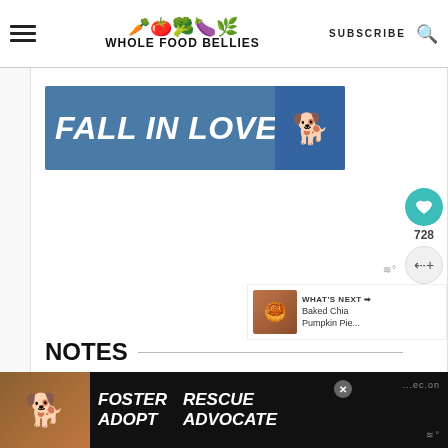WHOLE FOOD BELLIES
[Figure (screenshot): Advertisement banner: blue background with text 'FALL IN LOVE' in large white italic bold font, with a dog image on the right side]
[Figure (infographic): Floating heart/save button (teal circle with heart icon) showing 728 saves, and a share button below]
[Figure (screenshot): WHAT'S NEXT panel showing thumbnail of Baked Chia Pumpkin Pie with text 'Baked Chia Pumpkin Pie...']
NOTES
Storing leftovers...
[Figure (screenshot): Bottom advertisement banner on dark background with text 'FOSTER ADOPT' and 'RESCUE ADVOCATE' with dog image, close button, and waveform icon]